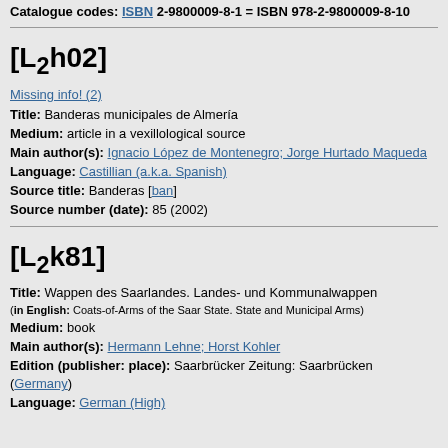Catalogue codes: ISBN 2-9800009-8-1 = ISBN 978-2-9800009-8-10
[L2h02]
Missing info! (2)
Title: Banderas municipales de Almería
Medium: article in a vexillological source
Main author(s): Ignacio López de Montenegro; Jorge Hurtado Maqueda
Language: Castillian (a.k.a. Spanish)
Source title: Banderas [ban]
Source number (date): 85 (2002)
[L2k81]
Title: Wappen des Saarlandes. Landes- und Kommunalwappen
(in English: Coats-of-Arms of the Saar State. State and Municipal Arms)
Medium: book
Main author(s): Hermann Lehne; Horst Kohler
Edition (publisher: place): Saarbrücker Zeitung: Saarbrücken (Germany)
Language: German (High)